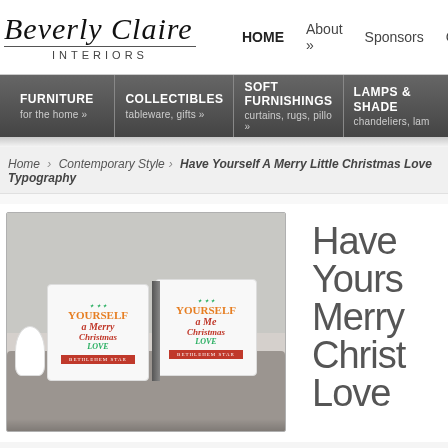Beverly Claire Interiors
HOME  About »  Sponsors  Contact
FURNITURE for the home »  COLLECTIBLES tableware, gifts »  SOFT FURNISHINGS curtains, rugs, pillo »  LAMPS & SHADES chandeliers, lam
Home › Contemporary Style › Have Yourself A Merry Little Christmas Love Typography
[Figure (photo): Product photo showing two decorative throw pillows with Christmas typography ('Have Yourself A Merry Christmas' in red, gold, and green lettering with ornamental design) displayed on a gray upholstered sofa, with a white swan figurine visible on the left side.]
Have Yourself A Merry Christmas Love